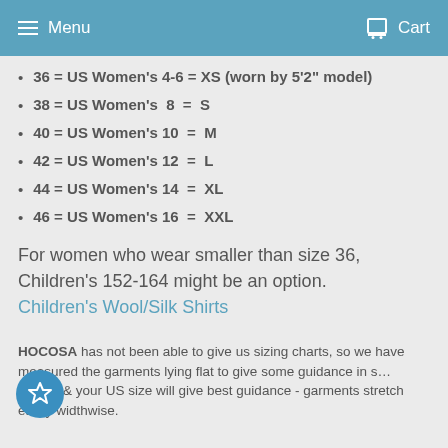Menu   Cart
36 = US Women's 4-6 = XS (worn by 5'2" model)
38 = US Women's  8  =  S
40 = US Women's 10  =  M
42 = US Women's 12  =  L
44 = US Women's 14  =  XL
46 = US Women's 16  =  XXL
For women who wear smaller than size 36, Children's 152-164 might be an option.
Children's Wool/Silk Shirts
HOCOSA has not been able to give us sizing charts, so we have measured the garments lying flat to give some guidance in s… Length & your US size will give best guidance - garments stretch easily widthwise.